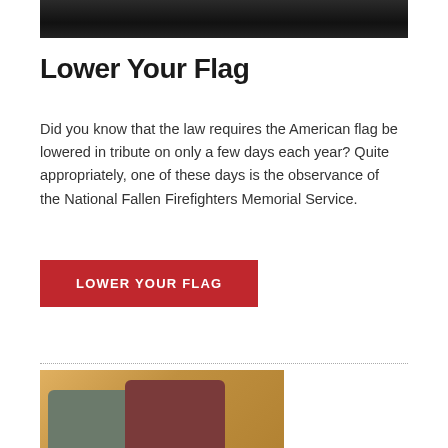[Figure (photo): Top portion of a photo showing a dark scene, partially cropped at the top of the page]
Lower Your Flag
Did you know that the law requires the American flag be lowered in tribute on only a few days each year? Quite appropriately, one of these days is the observance of the National Fallen Firefighters Memorial Service.
LOWER YOUR FLAG
[Figure (photo): People leaning over a table writing on a banner, with conference lanyards visible, in front of a yellow wall]